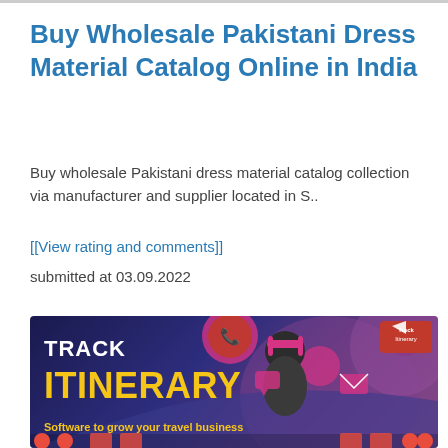Buy Wholesale Pakistani Dress Material Catalog Online in India
Buy wholesale Pakistani dress material catalog collection via manufacturer and supplier located in S..
[[View rating and comments]]
submitted at 03.09.2022
[Figure (infographic): Track Itinerary advertisement banner with dark blue/purple background, showing 'TRACK ITINERARY' text in white and yellow, subtitle 'Software to grow your travel business', with a person wearing headset and various social/communication icons. Track Itinerary logo in top right corner. Red icon row at bottom.]